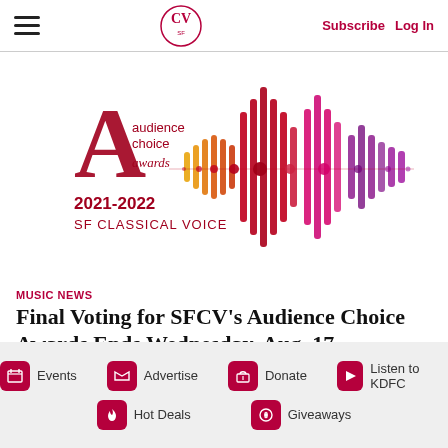SF Classical Voice — Subscribe | Log In
[Figure (logo): SF Classical Voice Audience Choice Awards 2021-2022 logo with colorful sound wave graphic]
MUSIC NEWS
Final Voting for SFCV's Audience Choice Awards Ends Wednesday, Aug. 17
August 15, 2022
Events | Advertise | Donate | Listen to KDFC | Hot Deals | Giveaways